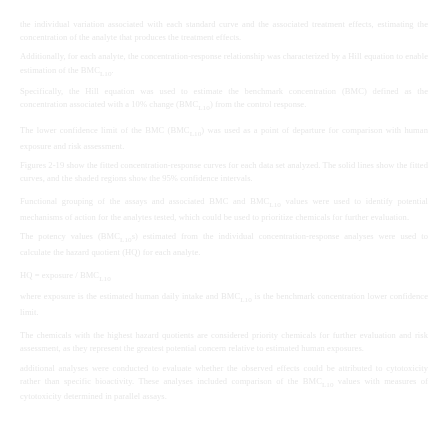the individual variation associated with each standard curve and the associated treatment effects, estimating the concentration of the analyte that produces the treatment effects.
Additionally, for each analyte, the concentration-response relationship was characterized by a Hill equation to enable estimation of the BMCL10.
Specifically, the Hill equation was used to estimate the benchmark concentration (BMC) defined as the concentration associated with a 10% change (BMCL10) from the control response.
The lower confidence limit of the BMC (BMCL10) was used as a point of departure for comparison with human exposure and risk assessment.
Figures 2-19 show the fitted concentration-response curves for each data set analyzed. The solid lines show the fitted curves, and the shaded regions show the 95% confidence intervals.
Functional grouping of the assays and associated BMC and BMCL10 values were used to identify potential mechanisms of action for the analytes tested, which could be used to prioritize chemicals for further evaluation.
The potency values (BMCL10s) estimated from the individual concentration-response analyses were used to calculate the hazard quotient (HQ) for each analyte.
HQ = exposure / BMCL10
where exposure is the estimated human daily intake and BMCL10 is the benchmark concentration lower confidence limit.
The chemicals with the highest hazard quotients are considered priority chemicals for further evaluation and risk assessment, as they represent the greatest potential concern relative to estimated human exposures.
additional analyses were conducted to evaluate whether the observed effects could be attributed to cytotoxicity rather than specific bioactivity. These analyses included comparison of the BMCL10 values with measures of cytotoxicity determined in parallel assays.